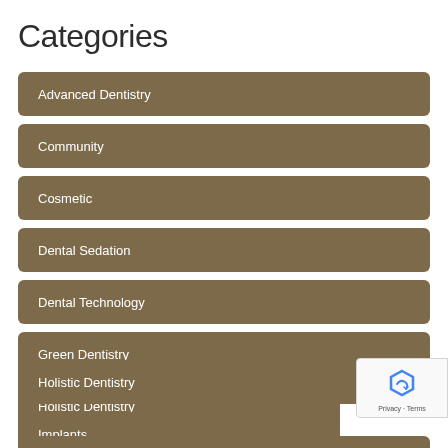Categories
Advanced Dentistry
Community
Cosmetic
Dental Sedation
Dental Technology
Green Dentistry
Holistic Dentistry
Implants
Invisalign®